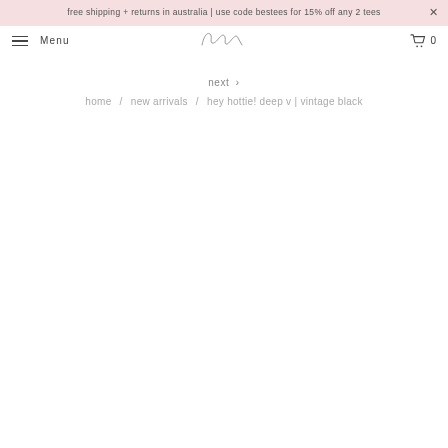free shipping + returns in australia | use code bestees for 15% off any 2 tees
Menu  [logo: bon]  0
next >
home / new arrivals / hey hottie! deep v | vintage black